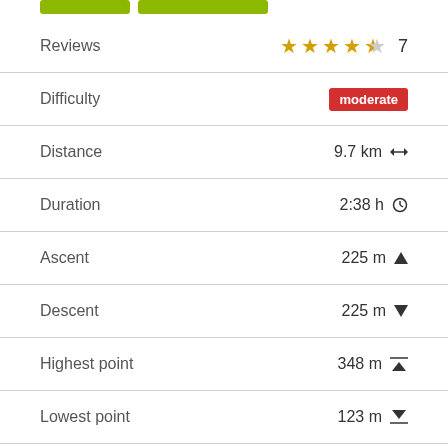[Figure (other): Two green buttons at the top of the page]
| Reviews | ★★★★½ 7 |
| Difficulty | moderate |
| Distance | 9.7 km ↔ |
| Duration | 2:38 h ⊙ |
| Ascent | 225 m ▲ |
| Descent | 225 m ▼ |
| Highest point | 348 m ⊼ |
| Lowest point | 123 m ⊽ |
Dog-friendly